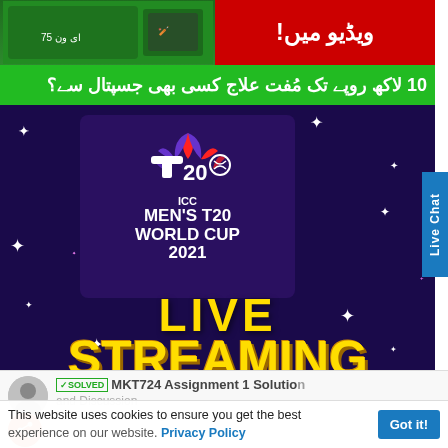[Figure (photo): Green banner on the left with cricket-related imagery and red banner on the right with Urdu script]
ویڈیو میں!
10 لاکھ روپے تک مُفت علاج کسی بھی جسپتال سے؟
[Figure (photo): ICC Men's T20 World Cup 2021 Live Streaming promotional graphic on dark purple/navy background with yellow text and star decorations]
Live Chat
✓SOLVED MKT724 Assignment 1 Solution and Discussion
MKT724 – Brand Management •
This website uses cookies to ensure you get the best experience on our website. Privacy Policy
Got it!